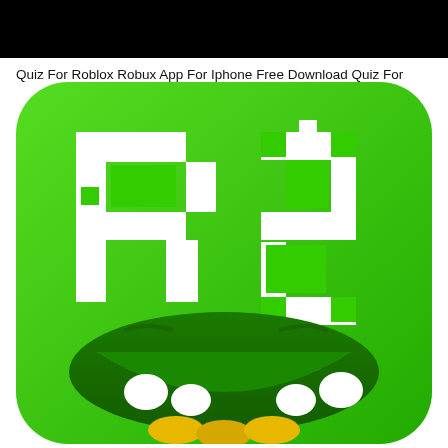[Figure (photo): Black banner/header bar at the top of the page]
Quiz For Roblox Robux App For Iphone Free Download Quiz For
[Figure (photo): Roblox Robux app icon on green background showing stylized 'R$' letters in white pixel art style with a monster face mouth showing teeth and gold coins at the bottom, on a rounded square green gradient background]